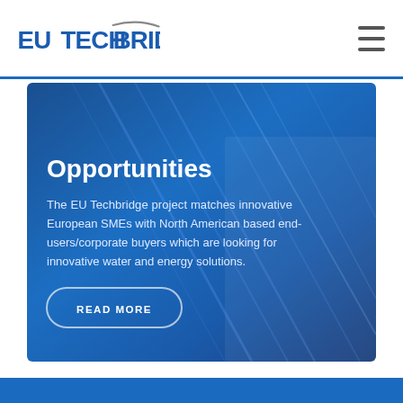EU TECHBRIDGE
Opportunities
The EU Techbridge project matches innovative European SMEs with North American based end-users/corporate buyers which are looking for innovative water and energy solutions.
READ MORE